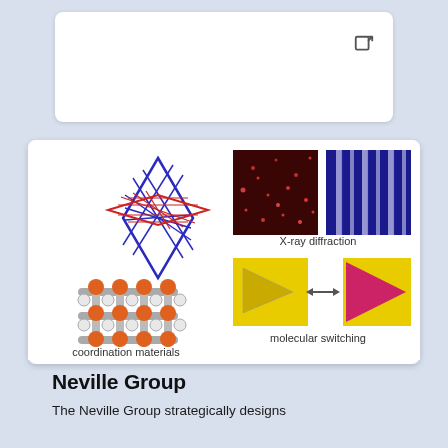[Figure (illustration): Scientific research illustration showing coordination materials (blue/red star-shaped crystal lattice diagram and molecular structure with orange atoms), X-ray diffraction pattern (red dots on dark background and blue striped pattern), and molecular switching (yellow and pink crystal shapes with double-headed arrow)]
Neville Group
The Neville Group strategically designs